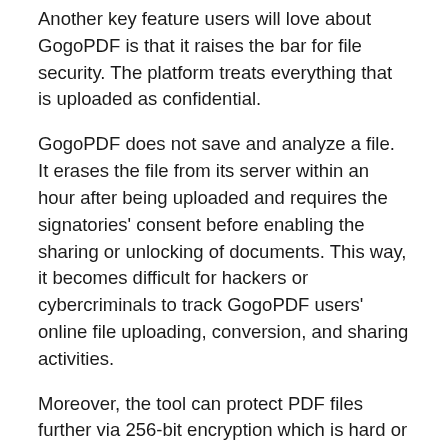Another key feature users will love about GogoPDF is that it raises the bar for file security. The platform treats everything that is uploaded as confidential.
GogoPDF does not save and analyze a file. It erases the file from its server within an hour after being uploaded and requires the signatories' consent before enabling the sharing or unlocking of documents. This way, it becomes difficult for hackers or cybercriminals to track GogoPDF users' online file uploading, conversion, and sharing activities.
Moreover, the tool can protect PDF files further via 256-bit encryption which is hard or nearly impossible to decrypt.